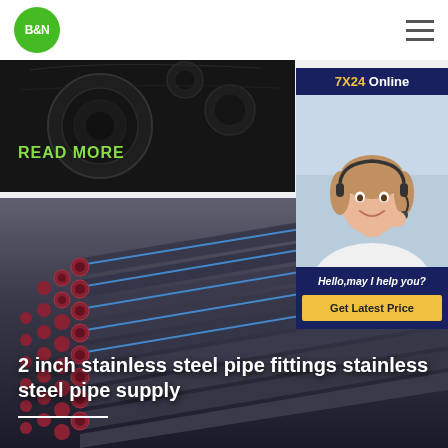[Figure (logo): B&N green circular logo]
[Figure (screenshot): Hamburger menu icon (three horizontal lines)]
[Figure (photo): Dark steel pipes background with READ MORE text overlay]
[Figure (photo): 7X24 Online customer service widget with female agent wearing headset, Hello may I help you? text, and Get Latest Price button]
[Figure (photo): Large photo of bundled steel pipes with red end caps, captioned '2 inch stainless steel pipe fittings stainless steel pipe supply']